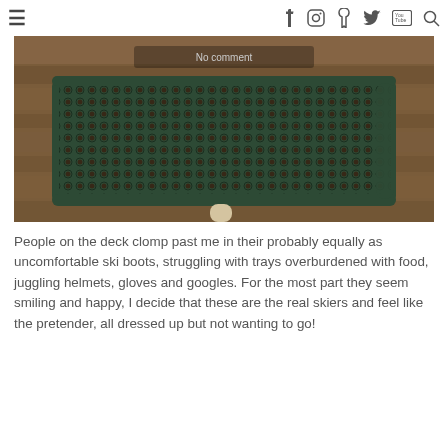≡  f  [camera]  p  [twitter]  [youtube]  [search]
[Figure (photo): Close-up photo of a dark green metal mesh/grid surface, possibly a ski rack or bench, with a wooden leg, set against a wooden plank background. Some text visible at top reads 'No comment'.]
People on the deck clomp past me in their probably equally as uncomfortable ski boots, struggling with trays overburdened with food, juggling helmets, gloves and googles. For the most part they seem smiling and happy, I decide that these are the real skiers and feel like the pretender, all dressed up but not wanting to go!